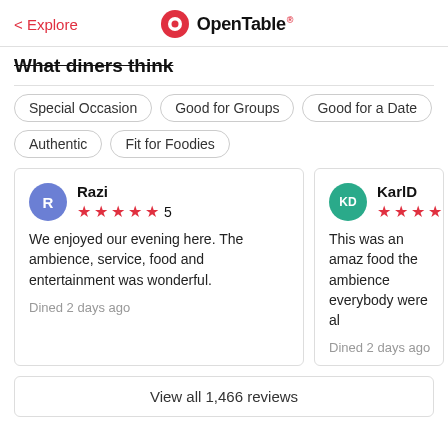< Explore | OpenTable
What diners think
Special Occasion
Good for Groups
Good for a Date
Authentic
Fit for Foodies
Razi — 5 stars — We enjoyed our evening here. The ambience, service, food and entertainment was wonderful. — Dined 2 days ago
KarlD — 5 stars — This was an amaz... food the ambience everybody were al... — Dined 2 days ago
View all 1,466 reviews